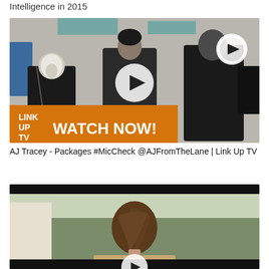Intelligence in 2015
[Figure (screenshot): Video thumbnail showing a group of people in a studio with acoustic panels, with a 'WATCH NOW!' banner and Link Up TV logo overlay, and a play button icon in the center and upper right.]
AJ Tracey - Packages #MicCheck @AJFromTheLane | Link Up TV
[Figure (screenshot): Video thumbnail showing a person with brown hair from behind, partially cropped, with a play button icon at the bottom center. Dark bars at top and bottom.]